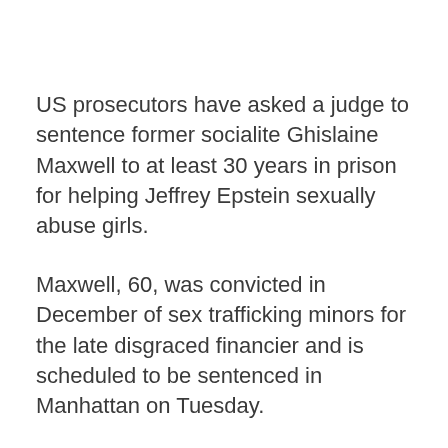US prosecutors have asked a judge to sentence former socialite Ghislaine Maxwell to at least 30 years in prison for helping Jeffrey Epstein sexually abuse girls.
Maxwell, 60, was convicted in December of sex trafficking minors for the late disgraced financier and is scheduled to be sentenced in Manhattan on Tuesday.
Her lawyers have argued for leniency, citing a traumatic childhood and claiming that Maxwell is being unfairly punished because Epstein escaped trial.
They called for Judge Alison Nathan to hand down a sentence less than the probation department's